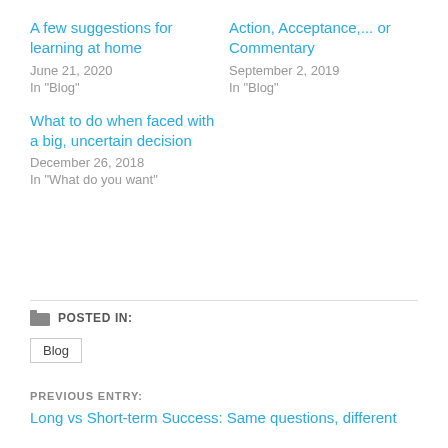A few suggestions for learning at home
June 21, 2020
In "Blog"
Action, Acceptance,... or Commentary
September 2, 2019
In "Blog"
What to do when faced with a big, uncertain decision
December 26, 2018
In "What do you want"
POSTED IN:
Blog
PREVIOUS ENTRY:
Long vs Short-term Success: Same questions, different